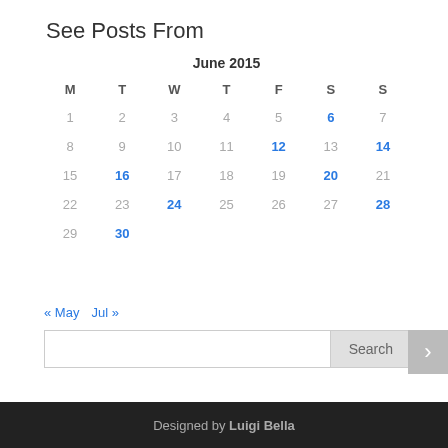See Posts From
| M | T | W | T | F | S | S |
| --- | --- | --- | --- | --- | --- | --- |
| 1 | 2 | 3 | 4 | 5 | 6 | 7 |
| 8 | 9 | 10 | 11 | 12 | 13 | 14 |
| 15 | 16 | 17 | 18 | 19 | 20 | 21 |
| 22 | 23 | 24 | 25 | 26 | 27 | 28 |
| 29 | 30 |  |  |  |  |  |
« May  Jul »
Designed by Luigi Bella